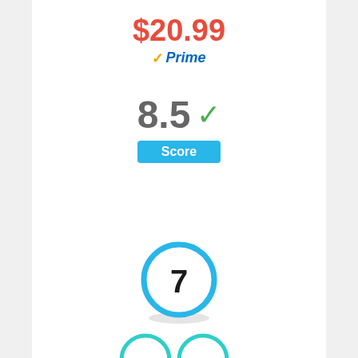$20.99
Prime
8.5 Score
[Figure (infographic): Circle badge with number 7 inside, blue thick border]
[Figure (infographic): Four teal outline circles arranged in 2x2 grid (partially visible)]